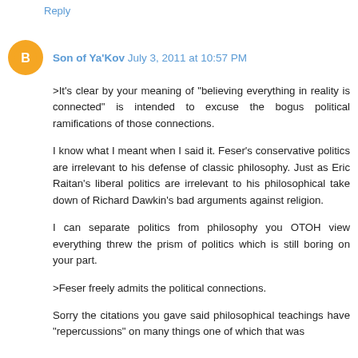Reply
Son of Ya'Kov  July 3, 2011 at 10:57 PM
>It's clear by your meaning of "believing everything in reality is connected" is intended to excuse the bogus political ramifications of those connections.

I know what I meant when I said it. Feser's conservative politics are irrelevant to his defense of classic philosophy. Just as Eric Raitan's liberal politics are irrelevant to his philosophical take down of Richard Dawkin's bad arguments against religion.

I can separate politics from philosophy you OTOH view everything threw the prism of politics which is still boring on your part.

>Feser freely admits the political connections.

Sorry the citations you gave said philosophical teachings have "repercussions" on many things one of which that was